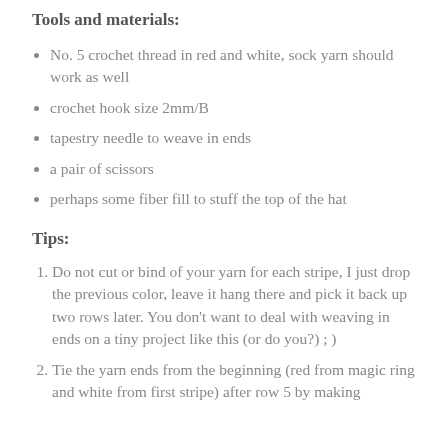Tools and materials:
No. 5 crochet thread in red and white, sock yarn should work as well
crochet hook size 2mm/B
tapestry needle to weave in ends
a pair of scissors
perhaps some fiber fill to stuff the top of the hat
Tips:
Do not cut or bind of your yarn for each stripe, I just drop the previous color, leave it hang there and pick it back up two rows later. You don't want to deal with weaving in ends on a tiny project like this (or do you?) ; )
Tie the yarn ends from the beginning (red from magic ring and white from first stripe) after row 5 by making